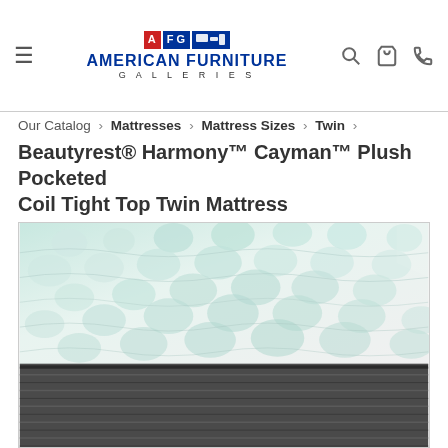American Furniture Galleries — navigation header with logo, search, cart, and phone icons
Our Catalog › Mattresses › Mattress Sizes › Twin ›
Beautyrest® Harmony™ Cayman™ Plush Pocketed Coil Tight Top Twin Mattress
[Figure (photo): Close-up photo of a Beautyrest mattress corner showing white tufted pillow-top surface with light teal/mint cushioning and dark grey/charcoal striped mattress sides]